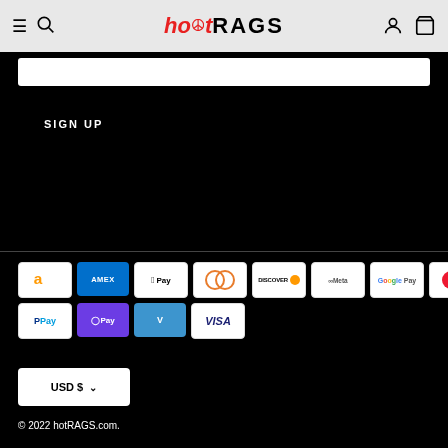hotRAGS
SIGN UP
[Figure (other): Payment method icons: Amazon, Amex, Apple Pay, Diners Club, Discover, Meta Pay, Google Pay, Mastercard, PayPal, O Pay, Venmo, Visa]
USD $
© 2022 hotRAGS.com.